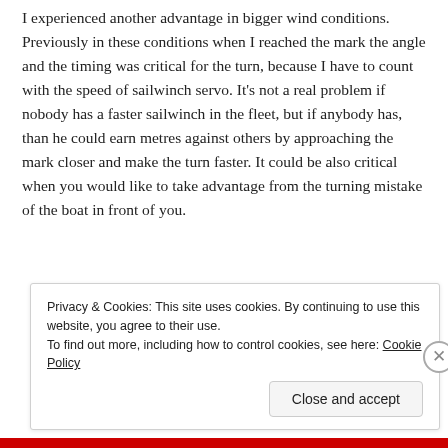I experienced another advantage in bigger wind conditions. Previously in these conditions when I reached the mark the angle and the timing was critical for the turn, because I have to count with the speed of sailwinch servo. It's not a real problem if nobody has a faster sailwinch in the fleet, but if anybody has, than he could earn metres against others by approaching the mark closer and make the turn faster. It could be also critical when you would like to take advantage from the turning mistake of the boat in front of you.
Privacy & Cookies: This site uses cookies. By continuing to use this website, you agree to their use. To find out more, including how to control cookies, see here: Cookie Policy
Close and accept